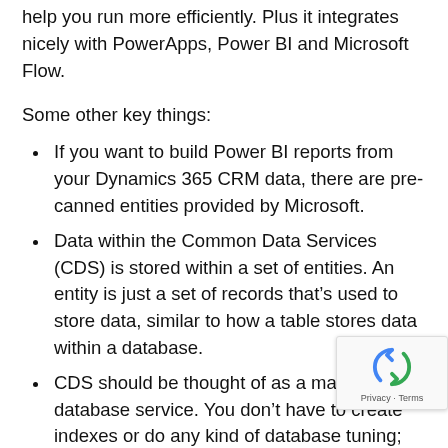help you run more efficiently. Plus it integrates nicely with PowerApps, Power BI and Microsoft Flow.
Some other key things:
If you want to build Power BI reports from your Dynamics 365 CRM data, there are pre-canned entities provided by Microsoft.
Data within the Common Data Services (CDS) is stored within a set of entities. An entity is just a set of records that’s used to store data, similar to how a table stores data within a database.
CDS should be thought of as a managed database service. You don’t have to create indexes or do any kind of database tuning; you’re not managing a database server as you would with SQL Server or a data warehouse. It’s designed to be somewhat of a centralized data repository from wh... can report or do further things with.
PowerApps is quickly becoming a good replacement for...